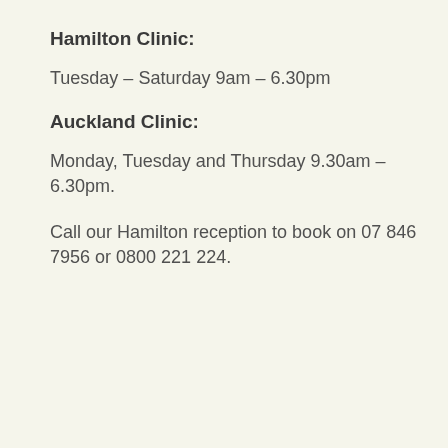Hamilton Clinic:
Tuesday – Saturday 9am – 6.30pm
Auckland Clinic:
Monday, Tuesday and Thursday 9.30am – 6.30pm.
Call our Hamilton reception to book on 07 846 7956 or 0800 221 224.